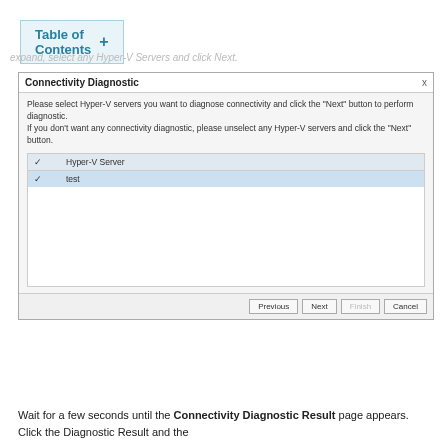Table of Contents +
expand, select any Hyper-V Servers and click Next.
[Figure (screenshot): Connectivity Diagnostic dialog box. Contains instructions to select Hyper-V servers and click Next. Has a table with columns for checkbox and Hyper-V Server, with one row showing 'test' selected. Footer has Previous, Next, Finish, Cancel buttons.]
Wait for a few seconds until the Connectivity Diagnostic Result page appears. Click the Diagnostic Result and the